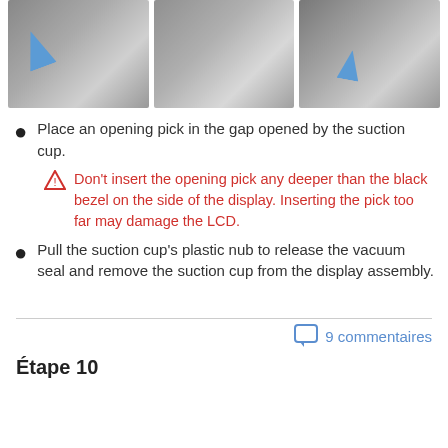[Figure (photo): Three photos showing hands using a blue opening pick and suction cup on a tablet/device display]
Place an opening pick in the gap opened by the suction cup.
Don't insert the opening pick any deeper than the black bezel on the side of the display. Inserting the pick too far may damage the LCD.
Pull the suction cup's plastic nub to release the vacuum seal and remove the suction cup from the display assembly.
9 commentaires
Étape 10